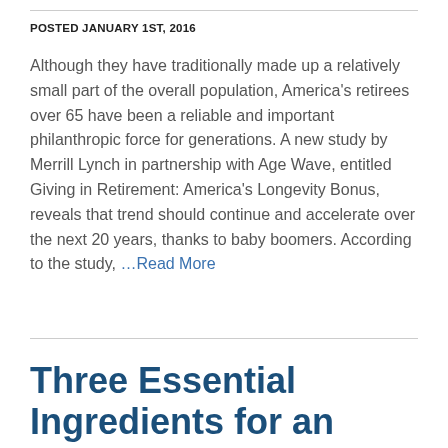POSTED JANUARY 1ST, 2016
Although they have traditionally made up a relatively small part of the overall population, America's retirees over 65 have been a reliable and important philanthropic force for generations. A new study by Merrill Lynch in partnership with Age Wave, entitled Giving in Retirement: America's Longevity Bonus, reveals that trend should continue and accelerate over the next 20 years, thanks to baby boomers. According to the study, …Read More
Three Essential Ingredients for an